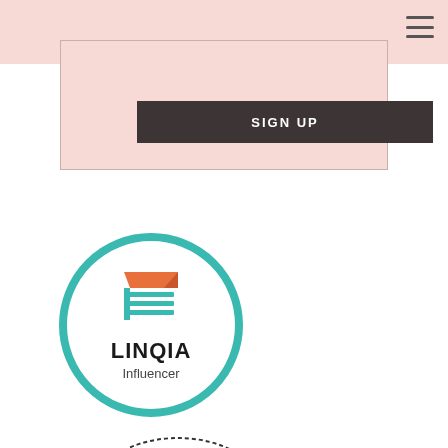SIGN UP
[Figure (logo): LINQIA Influencer badge — teal circle outline containing an orange/teal shopping-cart style icon above the text LINQIA Influencer in black]